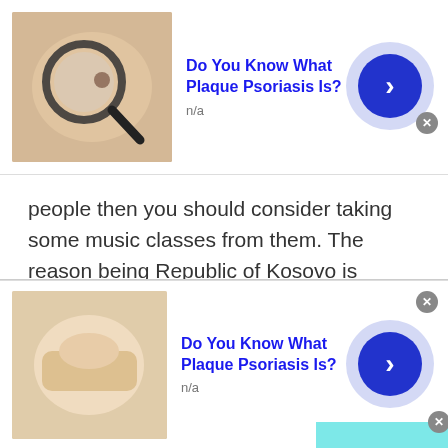[Figure (screenshot): Top ad banner: thumbnail image with magnifying glass, title 'Do You Know What Plaque Psoriasis Is?', subtitle 'n/a', and a blue circular arrow button with close X]
people then you should consider taking some music classes from them. The reason being Republic of Kosovo is considered the home of classical music. Every Kosovar is literally filled with the talent of music inside them. You can use the talkwithstranger's platform to take music classes online.

Since the world was standstill during the Covid-19 pandemic, people could not go to parties. The
[Figure (screenshot): Scroll-to-top teal button overlay with upward chevron arrow and gray X close button]
[Figure (screenshot): Bottom ad banner: thumbnail image, title 'Do You Know What Plaque Psoriasis Is?', subtitle 'n/a', and a blue circular arrow button with close X]